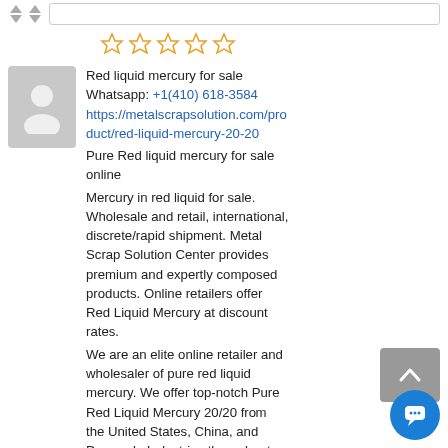[Figure (other): Sort arrows and search input box at top]
[Figure (other): Five empty star rating icons in orange outline]
[Figure (other): Gray avatar silhouette placeholder image]
Red liquid mercury for sale
Whatsapp: +1(410) 618-3584
https://metalscrapsolution.com/product/red-liquid-mercury-20-20
Pure Red liquid mercury for sale online
Mercury in red liquid for sale. Wholesale and retail, international, discrete/rapid shipment. Metal Scrap Solution Center provides premium and expertly composed products. Online retailers offer Red Liquid Mercury at discount rates.
We are an elite online retailer and wholesaler of pure red liquid mercury. We offer top-notch Pure Red Liquid Mercury 20/20 from the United States, China, and Denmark. Industries throughout
[Figure (other): Gray back-to-top button with upward chevron]
[Figure (other): Blue circular chat bubble button]